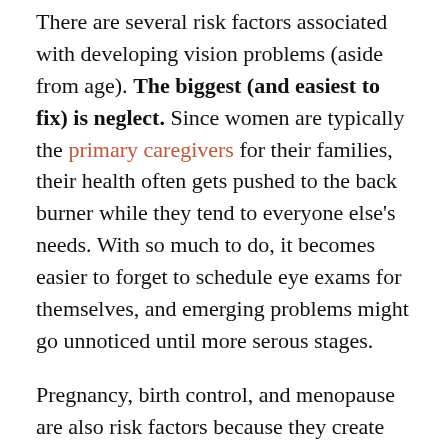There are several risk factors associated with developing vision problems (aside from age). The biggest (and easiest to fix) is neglect. Since women are typically the primary caregivers for their families, their health often gets pushed to the back burner while they tend to everyone else's needs. With so much to do, it becomes easier to forget to schedule eye exams for themselves, and emerging problems might go unnoticed until more serous stages.
Pregnancy, birth control, and menopause are also risk factors because they create significant hormone changes. Dry eye is common under any of these circumstances, and birth control may increase the likelihood of developing cataracts.
The Female Perspective
Aside from susceptibility to eye disease, men and women actually have slight differences in how their...